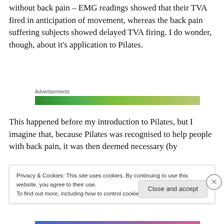without back pain – EMG readings showed that their TVA fired in anticipation of movement, whereas the back pain suffering subjects showed delayed TVA firing. I do wonder, though, about it's application to Pilates.
[Figure (other): Advertisements label above a green gradient horizontal bar (advertisement placeholder)]
This happened before my introduction to Pilates, but I imagine that, because Pilates was recognised to help people with back pain, it was then deemed necessary (by
Privacy & Cookies: This site uses cookies. By continuing to use this website, you agree to their use.
To find out more, including how to control cookies, see here: Cookie Policy